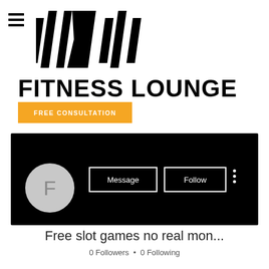[Figure (logo): Fitness Lounge logo with stylized barbell/letter shapes in black]
FITNESS LOUNGE
FREE CONSULTATION
[Figure (screenshot): Social media profile card with black header, avatar circle with letter F, Message and Follow buttons, and three-dot menu]
Free slot games no real mon...
0 Followers • 0 Following